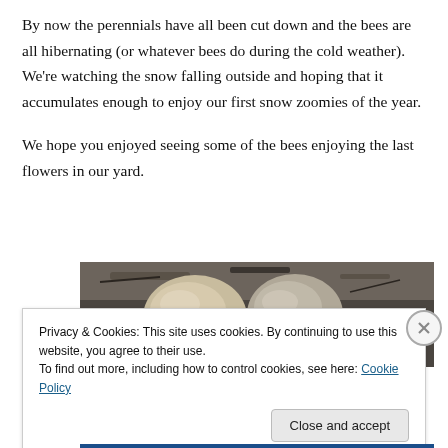By now the perennials have all been cut down and the bees are all hibernating (or whatever bees do during the cold weather). We're watching the snow falling outside and hoping that it accumulates enough to enjoy our first snow zoomies of the year.
We hope you enjoyed seeing some of the bees enjoying the last flowers in our yard.
[Figure (photo): Close-up photograph of two rounded stones/rocks on dark mulch or soil ground]
Privacy & Cookies: This site uses cookies. By continuing to use this website, you agree to their use.
To find out more, including how to control cookies, see here: Cookie Policy
Close and accept